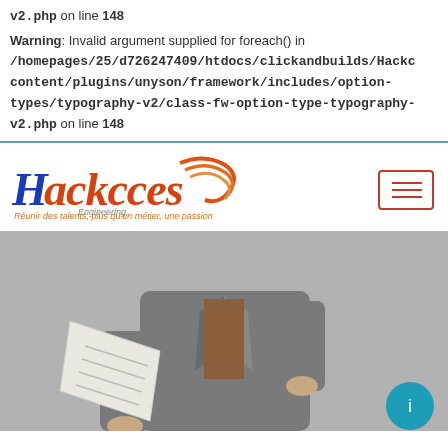v2.php on line 148
Warning: Invalid argument supplied for foreach() in /homepages/25/d726247409/htdocs/clickandbuilds/Hackcces/content/plugins/unyson/framework/includes/option-types/typography-v2/class-fw-option-type-typography-v2.php on line 148
[Figure (logo): Hackcces Engineering logo with orange and blue swoosh graphic and tagline 'Réunir des talents, plus qu'un métier, une passion']
[Figure (photo): A person in a grey blazer holding and reading a document, photographed from the torso down against a grey background. A teal/blue circular chat button is visible bottom-right.]